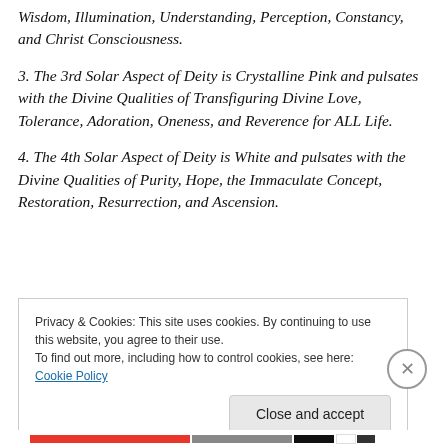Wisdom, Illumination, Understanding, Perception, Constancy, and Christ Consciousness.
3. The 3rd Solar Aspect of Deity is Crystalline Pink and pulsates with the Divine Qualities of Transfiguring Divine Love, Tolerance, Adoration, Oneness, and Reverence for ALL Life.
4. The 4th Solar Aspect of Deity is White and pulsates with the Divine Qualities of Purity, Hope, the Immaculate Concept, Restoration, Resurrection, and Ascension.
Privacy & Cookies: This site uses cookies. By continuing to use this website, you agree to their use. To find out more, including how to control cookies, see here: Cookie Policy